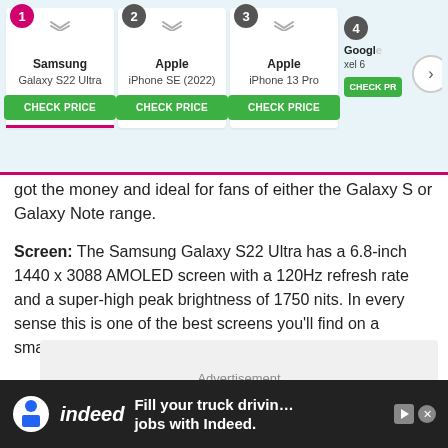[Figure (screenshot): Product comparison navigation bar showing 4 ranked smartphones: 1) Samsung Galaxy S22 Ultra, 2) Apple iPhone SE (2022), 3) Apple iPhone 13 Pro, 4) Google Pixel 6, each with a green CHECK PRICE button. A pink underline highlights the first card.]
got the money and ideal for fans of either the Galaxy S or Galaxy Note range.
Screen: The Samsung Galaxy S22 Ultra has a 6.8-inch 1440 x 3088 AMOLED screen with a 120Hz refresh rate and a super-high peak brightness of 1750 nits. In every sense this is one of the best screens you'll find on a smartphone.
[Figure (other): Advertisement placeholder box with grey background and 'Advertisement' label text]
[Figure (other): Indeed advertisement banner: dark background with Indeed logo and text 'Fill your truck driving jobs with Indeed.']